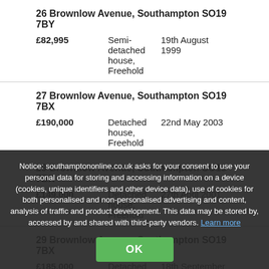26 Brownlow Avenue, Southampton SO19 7BY | £82,995 | Semi-detached house, Freehold | 19th August 1999
27 Brownlow Avenue, Southampton SO19 7BX | £190,000 | Detached house, Freehold | 22nd May 2003
29 Brownlow Avenue, Southampton SO19 7BX | £149,000 | Detached house, Freehold | 27th April 2001
29 Brownlow Avenue, Southampton SO19 7BX | £185,000 | Detached house, Freehold | 18th September 2009
32 Brownlow Avenue, Southampton SO19 7BY | £150,000 | Semi-detached house, Freehold | 26th April 2002
Notice: southamptononline.co.uk asks for your consent to use your personal data for storing and accessing information on a device (cookies, unique identifiers and other device data), use of cookies for both personalised and non-personalised advertising and content, analysis of traffic and product development. This data may be stored by, accessed by and shared with third-party vendors. Learn more